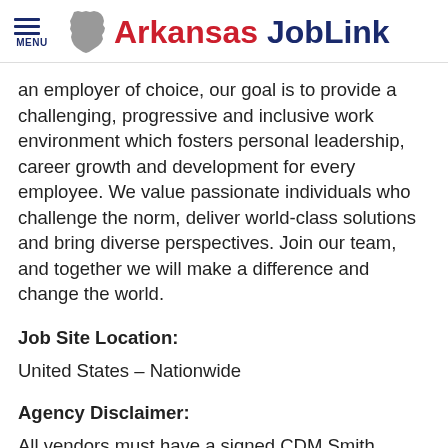MENU | Arkansas JobLink
an employer of choice, our goal is to provide a challenging, progressive and inclusive work environment which fosters personal leadership, career growth and development for every employee. We value passionate individuals who challenge the norm, deliver world-class solutions and bring diverse perspectives. Join our team, and together we will make a difference and change the world.
Job Site Location:
United States – Nationwide
Agency Disclaimer:
All vendors must have a signed CDM Smith